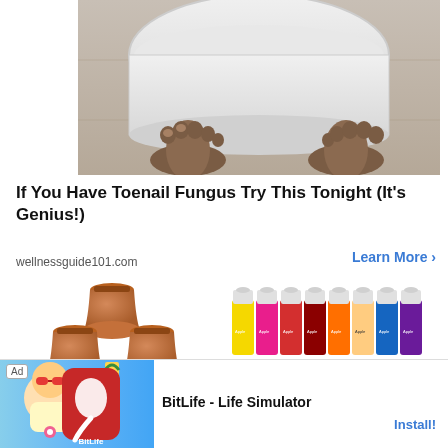[Figure (photo): Person's bare feet sitting beside a large white plastic basin/bowl on a light wood floor — toenail fungus remedy advertisement image]
If You Have Toenail Fungus Try This Tonight (It's Genius!)
wellnessguide101.com
Learn More >
[Figure (photo): Stack of terra cotta clay flower pots arranged in a pyramid — 6 pots total]
[Figure (photo): Two rows of Apple Barrel acrylic paint bottles in various colors]
[Figure (photo): Partial view of a set of art supplies (markers or paints) on dark background]
Ad
[Figure (illustration): BitLife app icon — cartoon baby with sunglasses on colorful background]
BitLife - Life Simulator
Install!